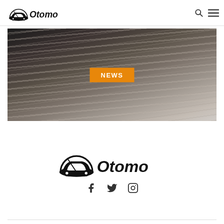[Figure (logo): Otomo automotive website logo in header — car silhouette with speedometer arc and 'Otomo' text in bold italic]
[Figure (photo): Stack of newspapers with orange NEWS badge overlay in center]
[Figure (logo): Otomo automotive logo centered in page footer area — larger version of header logo]
[Figure (infographic): Social media icons row: Facebook, Twitter, Instagram]